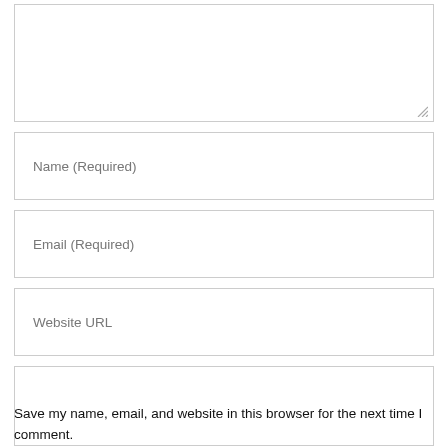[Figure (screenshot): A large empty textarea input box with a resize handle in the bottom right corner]
Name (Required)
Email (Required)
Website URL
[Figure (screenshot): A smaller empty textarea input box]
Save my name, email, and website in this browser for the next time I comment.